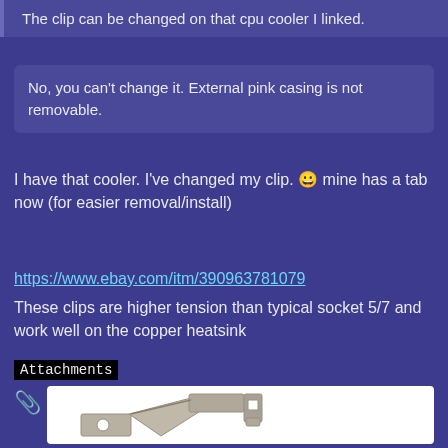The clip can be changed on that cpu cooler I linked.
No, you can't change it. External pink casing is not removable.
I have that cooler. I've changed my clip. 😀 mine has a tab now (for easier removal/install)
https://www.ebay.com/itm/390963781079
These clips are higher tension than typical socket 5/7 and work well on the copper heatsink
Attachments
[Figure (photo): A metal CPU cooler retention clip, silver-colored, showing a tab for easier removal and installation, photographed on a white background.]